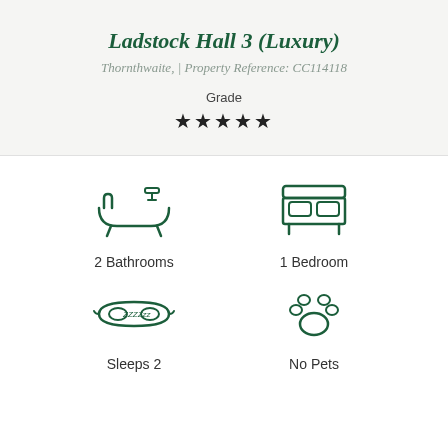Ladstock Hall 3 (Luxury)
Thornthwaite, | Property Reference: CC114118
Grade ★★★★★
[Figure (illustration): Bathtub icon representing 2 Bathrooms]
2 Bathrooms
[Figure (illustration): Bed icon representing 1 Bedroom]
1 Bedroom
[Figure (illustration): Sleep mask icon representing Sleeps 2]
Sleeps 2
[Figure (illustration): Paw print icon representing No Pets]
No Pets